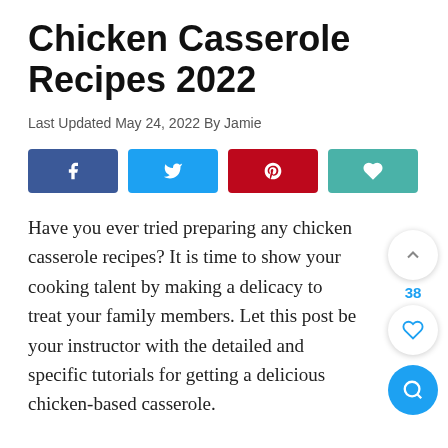Chicken Casserole Recipes 2022
Last Updated May 24, 2022 By Jamie
[Figure (infographic): Social sharing buttons: Facebook (blue), Twitter (light blue), Pinterest (red), Wishlist/heart (teal)]
Have you ever tried preparing any chicken casserole recipes? It is time to show your cooking talent by making a delicacy to treat your family members. Let this post be your instructor with the detailed and specific tutorials for getting a delicious chicken-based casserole.
The casserole is always the best-loved choice of many people on holidays because of its simplicity